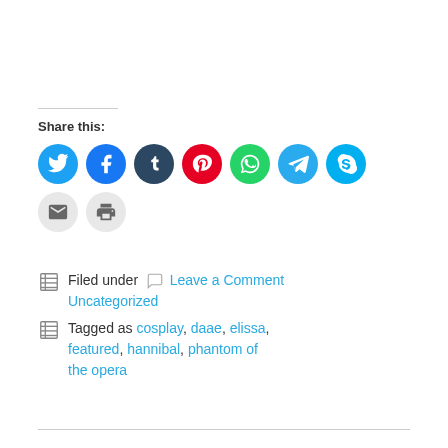Share this:
[Figure (infographic): Social share buttons: Twitter (blue), Facebook (blue), Tumblr (dark blue), Pinterest (red), WhatsApp (green), Telegram (teal), Skype (light blue), Email (gray), Print (gray)]
Filed under Leave a Comment Uncategorized
Tagged as cosplay, daae, elissa, featured, hannibal, phantom of the opera